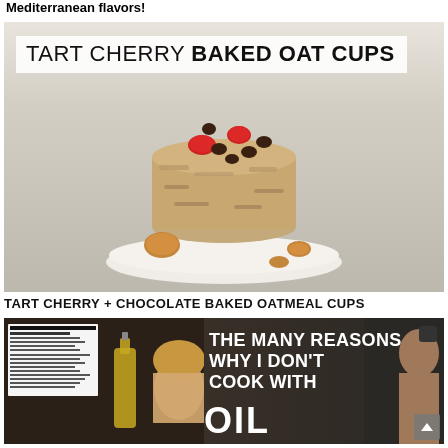Mediterranean flavors!
[Figure (photo): Photo of a tart cherry baked oat cup on a white plate with walnuts and pecans, topped with red tart cherries and chocolate chips. Title overlay reads: TART CHERRY BAKED OAT CUPS]
TART CHERRY + CHOCOLATE BAKED OATMEAL CUPS
[Figure (photo): Thumbnail image with dark background showing a man's face and text: THE MANY REASONS WHY I DON'T COOK WITH OIL, with a nutrition label and oil bottle on the left and a shirtless man on the right]